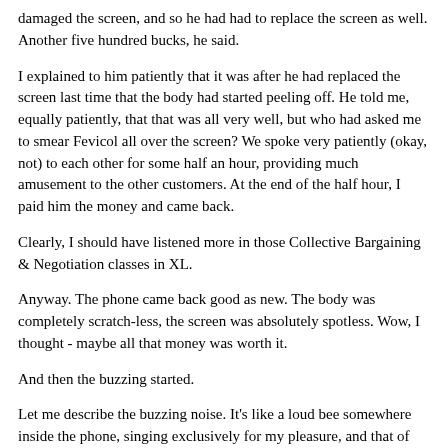damaged the screen, and so he had had to replace the screen as well. Another five hundred bucks, he said.
I explained to him patiently that it was after he had replaced the screen last time that the body had started peeling off. He told me, equally patiently, that that was all very well, but who had asked me to smear Fevicol all over the screen? We spoke very patiently (okay, not) to each other for some half an hour, providing much amusement to the other customers. At the end of the half hour, I paid him the money and came back.
Clearly, I should have listened more in those Collective Bargaining & Negotiation classes in XL.
Anyway. The phone came back good as new. The body was completely scratch-less, the screen was absolutely spotless. Wow, I thought - maybe all that money was worth it.
And then the buzzing started.
Let me describe the buzzing noise. It's like a loud bee somewhere inside the phone, singing exclusively for my pleasure, and that of the caller.  And the best part is that the bee likes singing only when I'm at home.